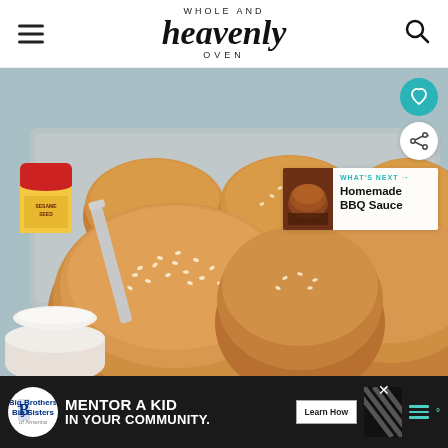[Figure (logo): Whole and Heavenly Oven website header logo with hamburger menu icon on left and search icon on right]
[Figure (photo): Close-up photo of whole wheat sesame seed hamburger buns on a baking sheet, with a container of sesame seeds and flour visible on the left side]
[Figure (infographic): What's Next panel showing Homemade BBQ Sauce with a small food photo thumbnail]
[Figure (infographic): Advertisement banner for Big Brothers Big Sisters: MENTOR A KID IN YOUR COMMUNITY with Learn How button]